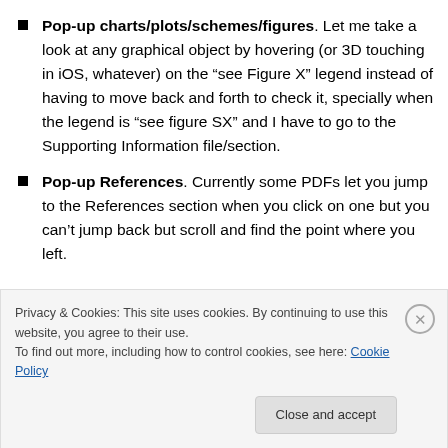Pop-up charts/plots/schemes/figures. Let me take a look at any graphical object by hovering (or 3D touching in iOS, whatever) on the “see Figure X” legend instead of having to move back and forth to check it, specially when the legend is “see figure SX” and I have to go to the Supporting Information file/section.
Pop-up References. Currently some PDFs let you jump to the References section when you click on one but you can’t jump back but scroll and find the point where you left.
Privacy & Cookies: This site uses cookies. By continuing to use this website, you agree to their use. To find out more, including how to control cookies, see here: Cookie Policy